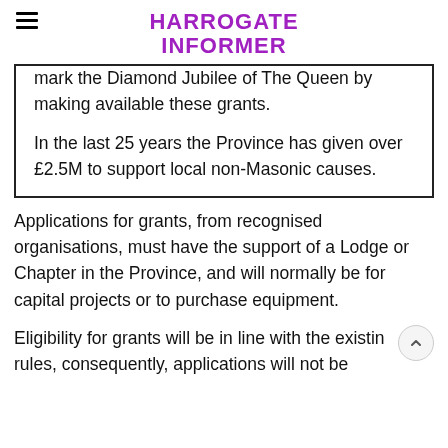HARROGATE INFORMER
mark the Diamond Jubilee of The Queen by making available these grants.

In the last 25 years the Province has given over £2.5M to support local non-Masonic causes.
Applications for grants, from recognised organisations, must have the support of a Lodge or Chapter in the Province, and will normally be for capital projects or to purchase equipment.
Eligibility for grants will be in line with the existing rules, consequently, applications will not be